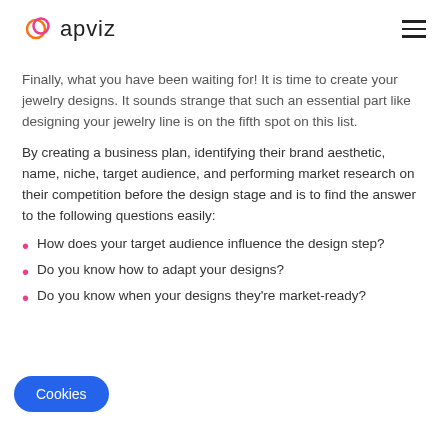apviz
Finally, what you have been waiting for! It is time to create your jewelry designs. It sounds strange that such an essential part like designing your jewelry line is on the fifth spot on this list.
By creating a business plan, identifying their brand aesthetic, name, niche, target audience, and performing market research on their competition before the design stage and is to find the answer to the following questions easily:
How does your target audience influence the design step?
Do you know how to adapt your designs?
Do you know when your designs they're market-ready?